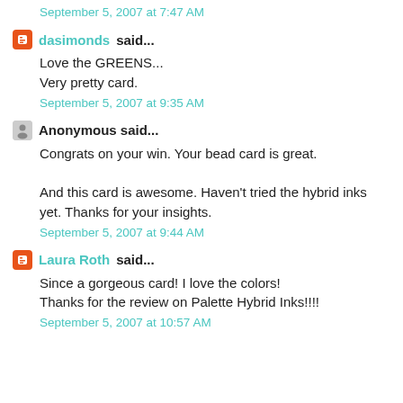September 5, 2007 at 7:47 AM
dasimonds said...
Love the GREENS...
Very pretty card.
September 5, 2007 at 9:35 AM
Anonymous said...
Congrats on your win. Your bead card is great.

And this card is awesome. Haven't tried the hybrid inks yet. Thanks for your insights.
September 5, 2007 at 9:44 AM
Laura Roth said...
Since a gorgeous card! I love the colors!
Thanks for the review on Palette Hybrid Inks!!!!
September 5, 2007 at 10:57 AM